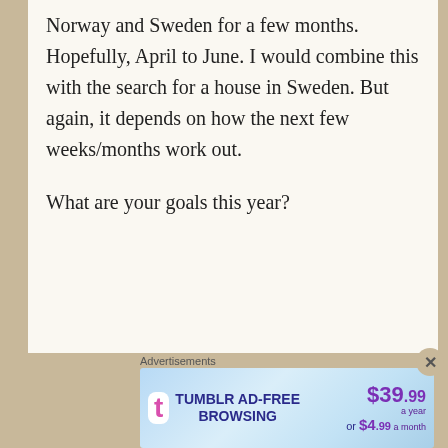Norway and Sweden for a few months. Hopefully, April to June. I would combine this with the search for a house in Sweden. But again, it depends on how the next few weeks/months work out.
What are your goals this year?
[Figure (screenshot): Tumblr ad-free browsing advertisement banner showing $39.99 a year or $4.99 a month pricing with Tumblr logo]